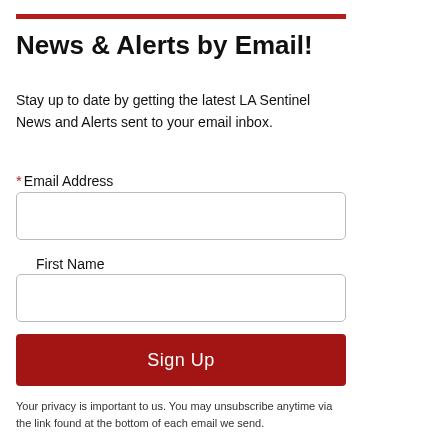News & Alerts by Email!
Stay up to date by getting the latest LA Sentinel News and Alerts sent to your email inbox.
* Email Address
First Name
Sign Up
Your privacy is important to us. You may unsubscribe anytime via the link found at the bottom of each email we send.